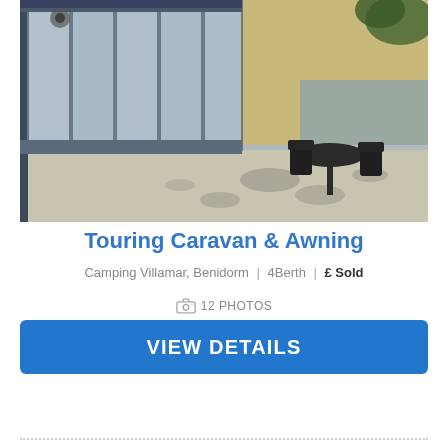[Figure (photo): Outdoor photo of a touring caravan awning with transparent PVC panels on the left side and patio furniture (table and chairs) on the right side, with a building wall in the background and dappled sunlight on the ground.]
Touring Caravan & Awning
Camping Villamar, Benidorm | 4 Berth | £ Sold
12 PHOTOS
VIEW DETAILS